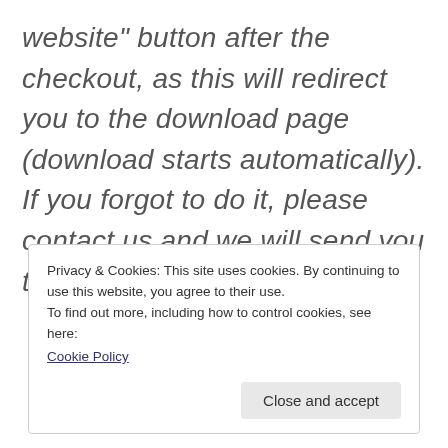website" button after the checkout, as this will redirect you to the download page (download starts automatically). If you forgot to do it, please contact us and we will send you the files within 24 hours.
Privacy & Cookies: This site uses cookies. By continuing to use this website, you agree to their use.
To find out more, including how to control cookies, see here:
Cookie Policy